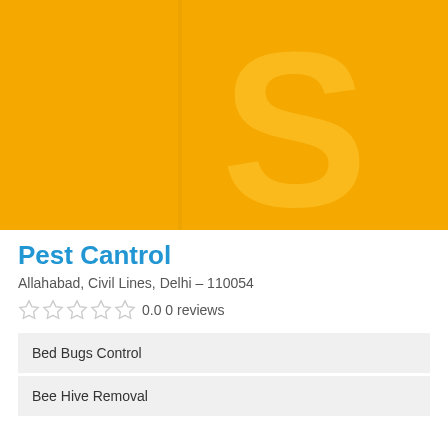[Figure (logo): Yellow/orange background with a large semi-transparent letter S and a faint vertical line, serving as a business logo placeholder for Pest Cantrol]
Pest Cantrol
Allahabad, Civil Lines, Delhi - 110054
0.0 0 reviews
Bed Bugs Control
Bee Hive Removal